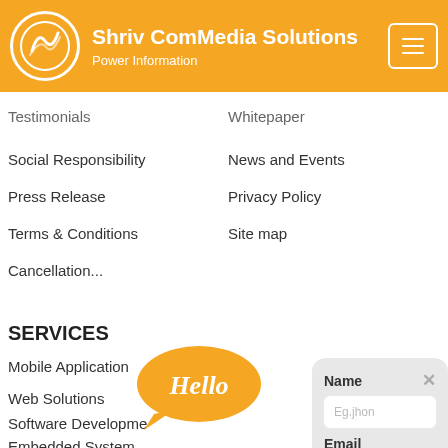Shriv ComMedia Solutions — Power Information
Testimonials
Whitepaper
Social Responsibility
News and Events
Press Release
Privacy Policy
Terms & Conditions
Site map
Cancellation...
[Figure (illustration): Hello speech bubble in orange]
SERVICES
Mobile Application
Web Solutions
Software Development
Embedded System
Name — form field with placeholder Eg.jhon
Email — form field with placeholder eg.someone@example.com
Phone No. — form field with placeholder +9198xxxxxx
Message — textarea with placeholder Enter your Message